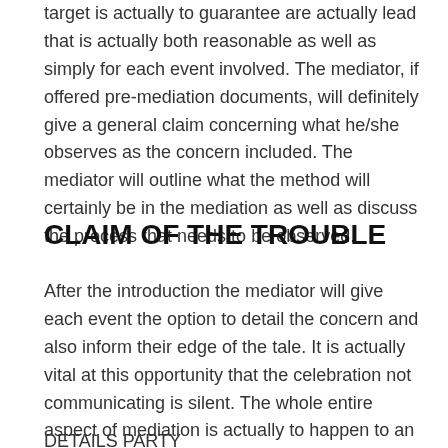target is actually to guarantee are actually lead that is actually both reasonable as well as simply for each event involved. The mediator, if offered pre-mediation documents, will definitely give a general claim concerning what he/she observes as the concern included. The mediator will outline what the method will certainly be in the mediation as well as discuss the process that needs to be observed.
CLAIM OF THE TROUBLE
After the introduction the mediator will give each event the option to detail the concern and also inform their edge of the tale. It is actually vital at this opportunity that the celebration not communicating is silent. The whole entire aspect of mediation is actually to happen to an affordable deal, when parties start bickering along with one another the factor of mediation is actually lost.
DETAILS PARTY